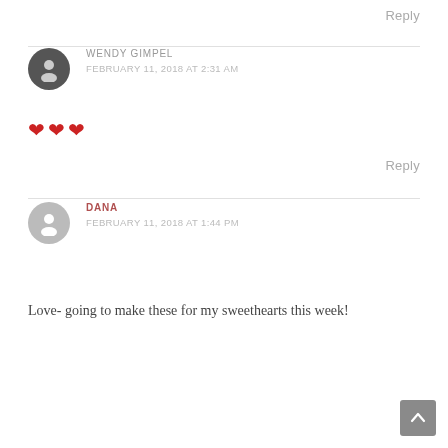Reply
WENDY GIMPEL
FEBRUARY 11, 2018 AT 2:31 AM
❤❤❤
Reply
DANA
FEBRUARY 11, 2018 AT 1:44 PM
Love- going to make these for my sweethearts this week!